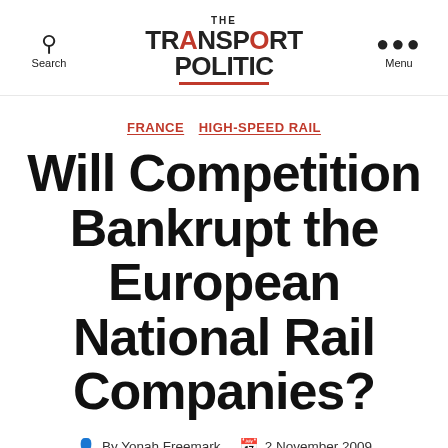THE TRANSPORT POLITIC — Search / Menu
FRANCE   HIGH-SPEED RAIL
Will Competition Bankrupt the European National Rail Companies?
By Yonah Freemark   2 November 2009
15 Comments